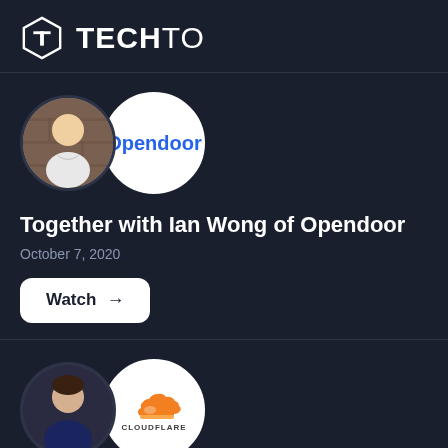TECHTO
[Figure (logo): TechTO logo with hexagon icon containing letter T and TECHTO text in white on dark background]
[Figure (photo): Two overlapping circular images: a person photo (Ian Wong) on the left and Opendoor company logo on white circle on the right]
Together with Ian Wong of Opendoor
October 7, 2020
Watch →
[Figure (photo): Two overlapping circular images: a person photo on the left and Cloudflare company logo on white circle on the right]